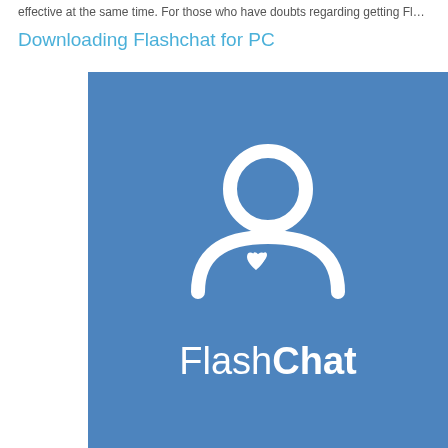effective at the same time. For those who have doubts regarding getting Flashch...
Downloading Flashchat for PC
[Figure (logo): FlashChat app logo on a blue background. White icon of a person silhouette with a heart symbol on the chest, and the text 'FlashChat' below in white (Flash in regular weight, Chat in bold).]